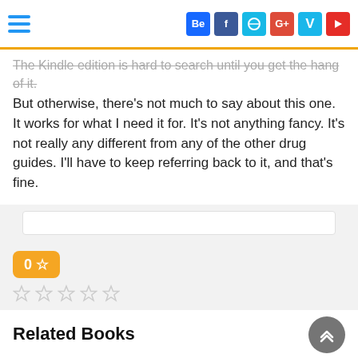Social media icons: Behance, Facebook, Dribbble, Google+, Vine, YouTube
The Kindle edition is hard to search until you get the hang of it. But otherwise, there's not much to say about this one. It works for what I need it for. It's not anything fancy. It's not really any different from any of the other drug guides. I'll have to keep referring back to it, and that's fine.
[Figure (other): Orange rating badge showing '0' with a star outline, followed by a row of five empty star outlines]
The search feature is useless, if I hadn't rented the book I'd immediately have asked for a refund. You can't find anything easily, all you can do is scroll and pray.
Related Books